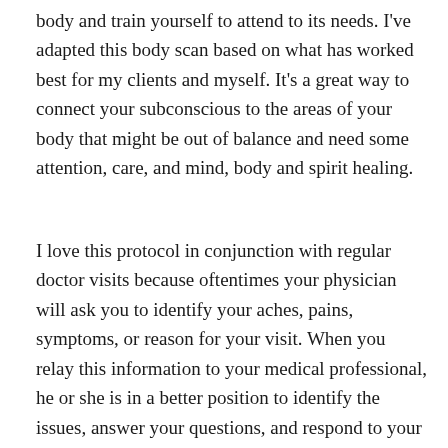body and train yourself to attend to its needs. I've adapted this body scan based on what has worked best for my clients and myself. It's a great way to connect your subconscious to the areas of your body that might be out of balance and need some attention, care, and mind, body and spirit healing.
I love this protocol in conjunction with regular doctor visits because oftentimes your physician will ask you to identify your aches, pains, symptoms, or reason for your visit. When you relay this information to your medical professional, he or she is in a better position to identify the issues, answer your questions, and respond to your concerns. Remember, a surprise diagnosis can be a diminished link between the subconscious, the conscious mind, and the body.